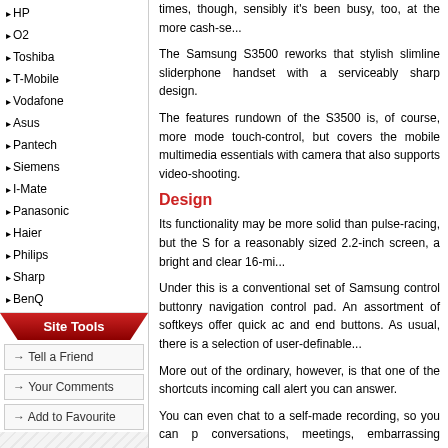HP
O2
Toshiba
T-Mobile
Vodafone
Asus
Pantech
Siemens
I-Mate
Panasonic
Haier
Philips
Sharp
BenQ
Site Tools
Tell a Friend
Your Comments
Add to Favourite
times, though, sensibly it's been busy, too, at the more cash-se...
The Samsung S3500 reworks that stylish slimline sliderphone handset with a serviceably sharp design.
The features rundown of the S3500 is, of course, more mode touch-control, but covers the mobile multimedia essentials with camera that also supports video-shooting.
Design
Its functionality may be more solid than pulse-racing, but the S for a reasonably sized 2.2-inch screen, a bright and clear 16-mi...
Under this is a conventional set of Samsung control buttonry navigation control pad. An assortment of softkeys offer quick ac and end buttons. As usual, there is a selection of user-definable...
More out of the ordinary, however, is that one of the shortcuts incoming call alert you can answer.
You can even chat to a self-made recording, so you can p conversations, meetings, embarrassing situations, and so on –
The menu system is regulation Samsung, with a main icon Straightforward to operate, with the slider down you can also se...
The slider action is well executed – smooth but solid - and th separate the keys enough, and although flush on a single pane...
At an all in weight of 95g and measuring 100(h) x 48(w) x 13.9 be unobtrusive in your pocket.
Features
There's a reasonable set of features to play with. The musi...